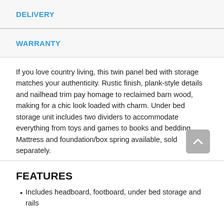DELIVERY
WARRANTY
If you love country living, this twin panel bed with storage matches your authenticity. Rustic finish, plank-style details and nailhead trim pay homage to reclaimed barn wood, making for a chic look loaded with charm. Under bed storage unit includes two dividers to accommodate everything from toys and games to books and bedding. Mattress and foundation/box spring available, sold separately.
FEATURES
Includes headboard, footboard, under bed storage and rails